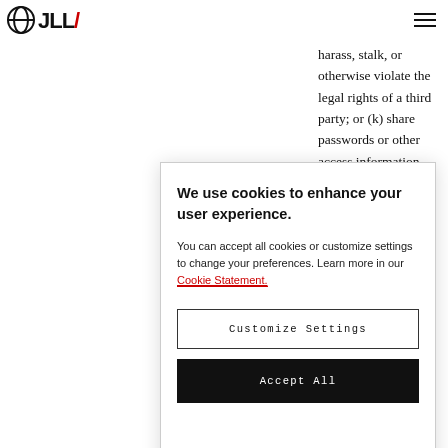JLL logo and navigation
harass, stalk, or otherwise violate the legal rights of a third party; or (k) share passwords or other access information (“Access Credentials”) or allow or warrant ... located in a ... has been ... as a ... (ii) You ... ent list ... , ty, group ity which ... the Office of Foreign Assets Controls (“OFAC”) sanctions prohibit JLL from engaging in transactions (including any person that appears on the current OFAC list of
[Figure (screenshot): Cookie consent modal dialog with title 'We use cookies to enhance your user experience.' and body text about accepting cookies or customizing settings. Contains a 'Customize Settings' button and an 'Accept All' button.]